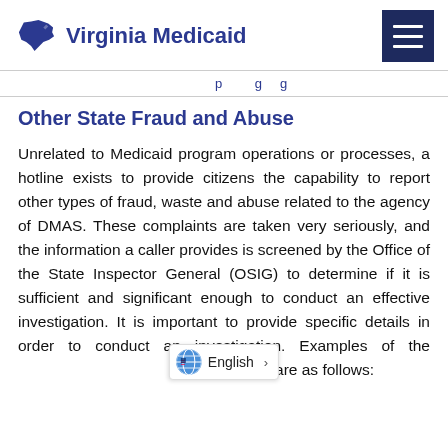Virginia Medicaid
Other State Fraud and Abuse
Unrelated to Medicaid program operations or processes, a hotline exists to provide citizens the capability to report other types of fraud, waste and abuse related to the agency of DMAS. These complaints are taken very seriously, and the information a caller provides is screened by the Office of the State Inspector General (OSIG) to determine if it is sufficient and significant enough to conduct an effective investigation. It is important to provide specific details in order to conduct an investigation. Examples of the complaints are as follows: